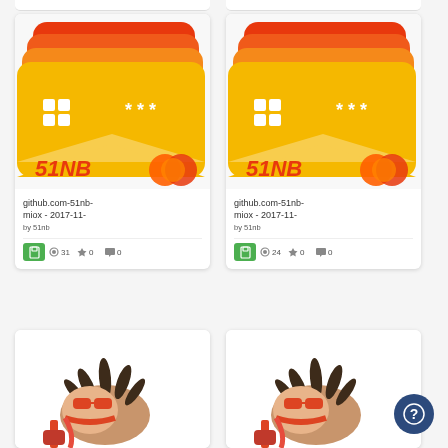[Figure (screenshot): App gallery/store page showing two identical wallet card items labeled '51NB' with github.com-51nb-miox - 2017-11- title, by 51nb, with stats (31 saves, 0 stars, 0 comments) and (24 saves, 0 stars, 0 comments), and two partial hedgehog character illustration cards at the bottom. A help button (?) in a dark blue circle appears bottom-right.]